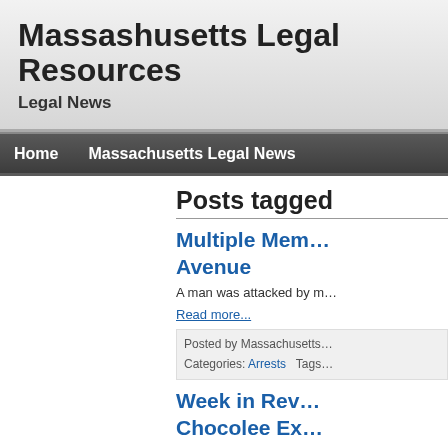Massashusetts Legal Resources
Legal News
Home   Massachusetts Legal News
Posts tagged
Multiple Men… Avenue
A man was attacked by m…
Read more...
Posted by Massachusetts… Categories: Arrests   Tags…
Week in Rev… Chocolee Ex…